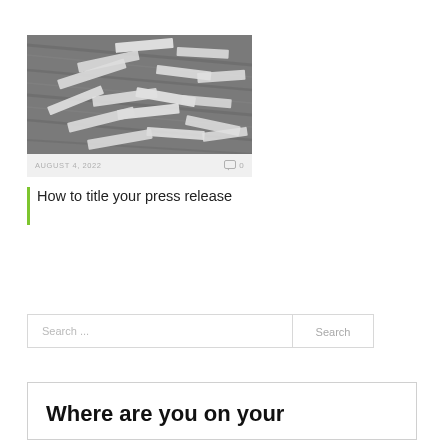[Figure (photo): Black and white photo of scattered paper label strips on a wooden surface]
AUGUST 4, 2022   0
How to title your press release
Search ...
Search
Where are you on your